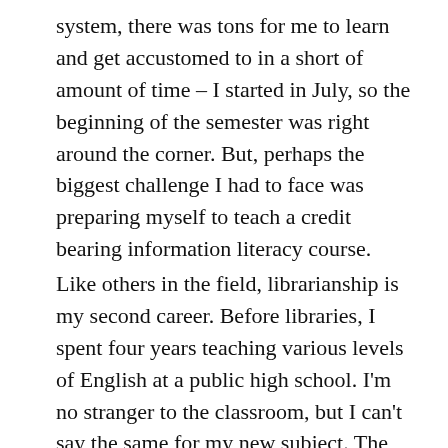system, there was tons for me to learn and get accustomed to in a short of amount of time – I started in July, so the beginning of the semester was right around the corner. But, perhaps the biggest challenge I had to face was preparing myself to teach a credit bearing information literacy course.
Like others in the field, librarianship is my second career. Before libraries, I spent four years teaching various levels of English at a public high school. I'm no stranger to the classroom, but I can't say the same for my new subject. The class I was scheduled to teach this semester was LIB 160: Library Research for Criminal Justice Majors. My undergrad degree is